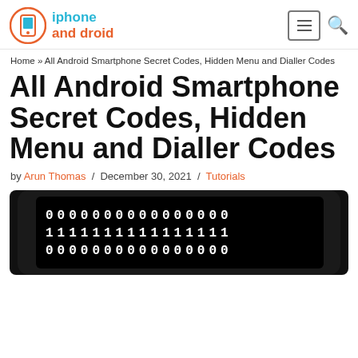iphone and droid
Home » All Android Smartphone Secret Codes, Hidden Menu and Dialler Codes
All Android Smartphone Secret Codes, Hidden Menu and Dialler Codes
by Arun Thomas / December 30, 2021 / Tutorials
[Figure (photo): Black smartphone screen displaying rows of binary digits (0s and 1s)]